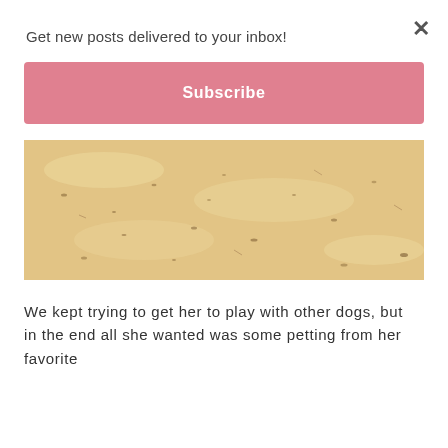Get new posts delivered to your inbox!
Subscribe
[Figure (photo): Sandy beach ground surface with scattered small marks and footprints in the sand, warm beige/tan tones]
We kept trying to get her to play with other dogs, but in the end all she wanted was some petting from her favorite